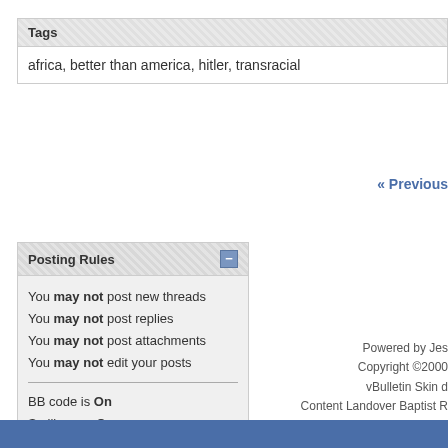Tags
africa, better than america, hitler, transracial
« Previous
Posting Rules
You may not post new threads
You may not post replies
You may not post attachments
You may not edit your posts
BB code is On
Smilies are On
[IMG] code is On
HTML code is Off
Forum Rules
Powered by Jes
Copyright ©2000
vBulletin Skin d
Content Landover Baptist R